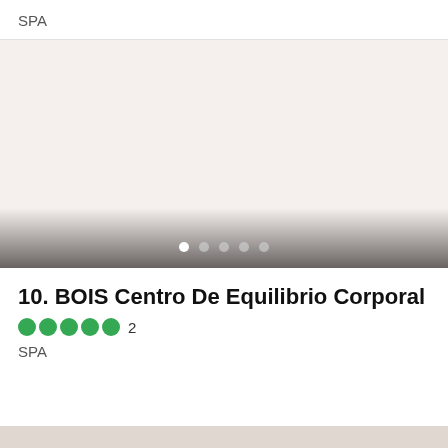SPA
[Figure (photo): Light pinkish-beige background image area for a spa listing with a dark gradient at the bottom and five navigation dots (one white active, four grey inactive) overlaid on the gradient.]
10. BOIS Centro De Equilibrio Corporal
2
SPA